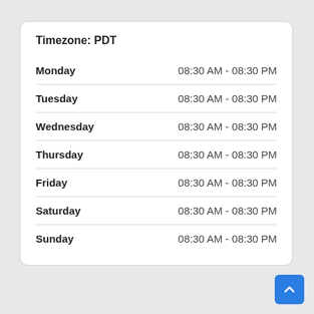Timezone: PDT
| Day | Hours |
| --- | --- |
| Monday | 08:30 AM - 08:30 PM |
| Tuesday | 08:30 AM - 08:30 PM |
| Wednesday | 08:30 AM - 08:30 PM |
| Thursday | 08:30 AM - 08:30 PM |
| Friday | 08:30 AM - 08:30 PM |
| Saturday | 08:30 AM - 08:30 PM |
| Sunday | 08:30 AM - 08:30 PM |